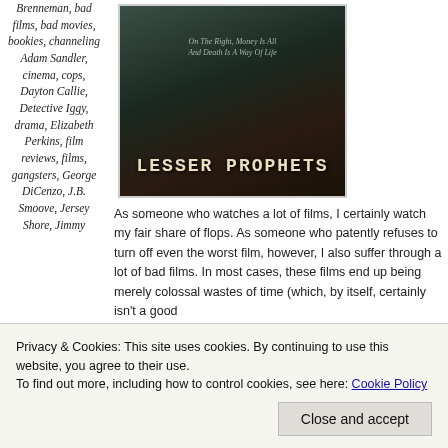Brenneman, bad films, bad movies, bookies, channeling Adam Sandler, cinema, cops, Dayton Callie, Detective Iggy, drama, Elizabeth Perkins, film reviews, films, gangsters, George DiCenzo, J.B. Smoove, Jersey Shore, Jimmy...Badalucco,
[Figure (photo): Movie poster for 'Lesser Prophets' — dark moody image with figures in shadow and title text in typewriter font at bottom]
As someone who watches a lot of films, I certainly watch my fair share of flops. As someone who patently refuses to turn off even the worst film, however, I also suffer through a lot of bad films. In most cases, these films end up being merely colossal wastes of time (which, by itself, certainly isn't a good...this...if you dare! In roughly 98% of these instances,
Privacy & Cookies: This site uses cookies. By continuing to use this website, you agree to their use. To find out more, including how to control cookies, see here: Cookie Policy
Close and accept